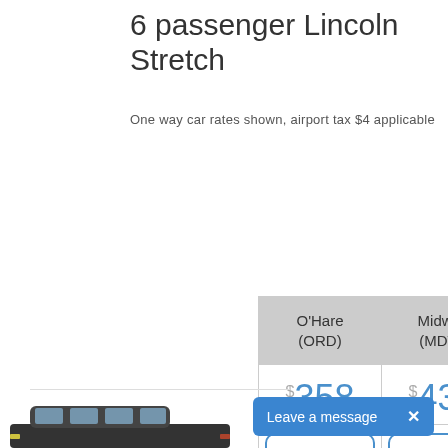6 passenger Lincoln Stretch
One way car rates shown, airport tax $4 applicable
| O'Hare (ORD) | Midway (MDW) | Chicago Loop |
| --- | --- | --- |
| $358 | $438 | $421-439 |
| Book now | Book Now | Book now |
[Figure (photo): Partial view of a black Lincoln stretch limousine at the bottom of the page]
Leave a message  ×